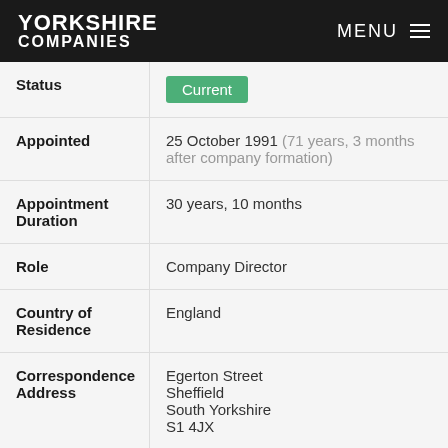YORKSHIRE COMPANIES | MENU
| Field | Value |
| --- | --- |
| Status | Current |
| Appointed | 25 October 1991 (71 years, 3 months after company formation) |
| Appointment Duration | 30 years, 10 months |
| Role | Company Director |
| Country of Residence | England |
| Correspondence Address | Egerton Street, Sheffield, South Yorkshire, S1 4JX |